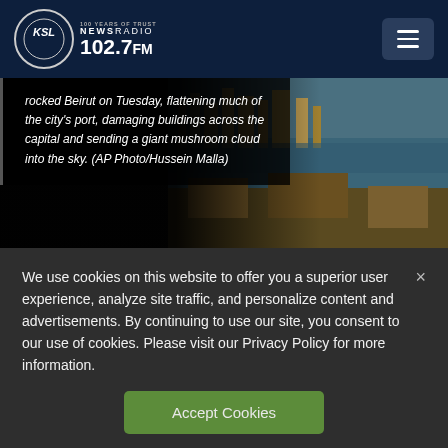KSL NewsRadio 102.7FM
rocked Beirut on Tuesday, flattening much of the city's port, damaging buildings across the capital and sending a giant mushroom cloud into the sky. (AP Photo/Hussein Malla)
[Figure (photo): Aerial photo of Beirut port area showing destruction and the city skyline in the background]
We use cookies on this website to offer you a superior user experience, analyze site traffic, and personalize content and advertisements. By continuing to use our site, you consent to our use of cookies. Please visit our Privacy Policy for more information.
Accept Cookies